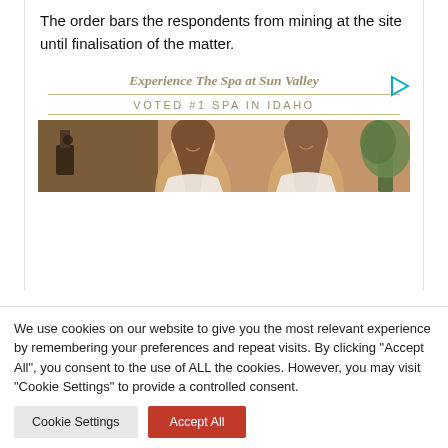The order bars the respondents from mining at the site until finalisation of the matter.
[Figure (other): Advertisement for The Spa at Sun Valley, voted #1 Spa in Idaho, showing two women smiling in a spa setting with a play button icon]
We use cookies on our website to give you the most relevant experience by remembering your preferences and repeat visits. By clicking "Accept All", you consent to the use of ALL the cookies. However, you may visit "Cookie Settings" to provide a controlled consent.